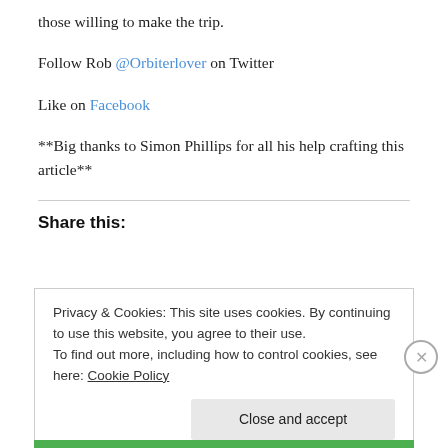those willing to make the trip.
Follow Rob @Orbiterlover on Twitter
Like on Facebook
**Big thanks to Simon Phillips for all his help crafting this article**
Share this:
Privacy & Cookies: This site uses cookies. By continuing to use this website, you agree to their use.
To find out more, including how to control cookies, see here: Cookie Policy